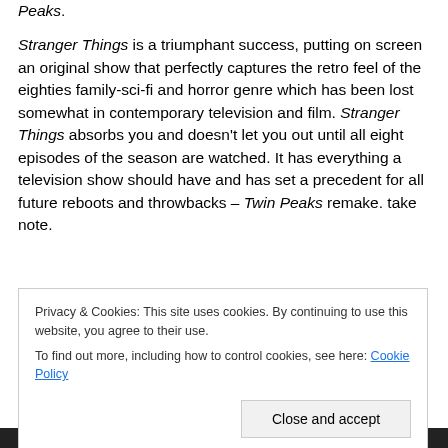Peaks. Stranger Things is a triumphant success, putting on screen an original show that perfectly captures the retro feel of the eighties family-sci-fi and horror genre which has been lost somewhat in contemporary television and film. Stranger Things absorbs you and doesn't let you out until all eight episodes of the season are watched. It has everything a television show should have and has set a precedent for all future reboots and throwbacks – Twin Peaks remake. take note.
Privacy & Cookies: This site uses cookies. By continuing to use this website, you agree to their use. To find out more, including how to control cookies, see here: Cookie Policy